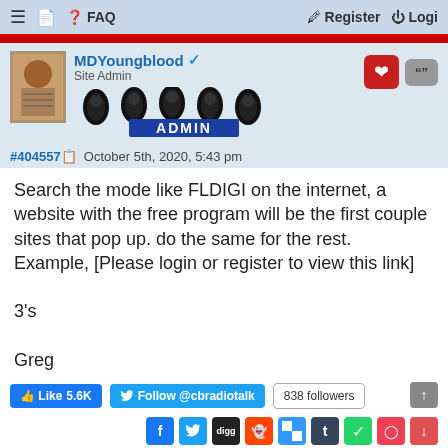≡  FAQ   Register  Login
MDYoungblood ✓ Site Admin  ADMIN
#404557  October 5th, 2020, 5:43 pm
Search the mode like FLDIGI on the internet, a website with the free program will be the first couple sites that pop up. do the same for the rest.
Example, [Please login or register to view this link]

3's

Greg
👍 Like 5.6K   Follow @cbradiotalk   838 followers
🏠 Home  ↓ Downloads   ✉ Contact us ≡